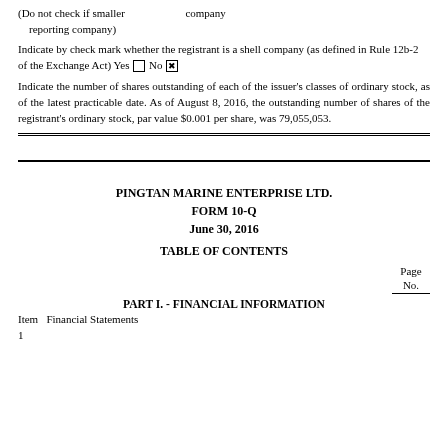(Do not check if smaller reporting company)        company
Indicate by check mark whether the registrant is a shell company (as defined in Rule 12b-2 of the Exchange Act) Yes □ No ☒
Indicate the number of shares outstanding of each of the issuer's classes of ordinary stock, as of the latest practicable date. As of August 8, 2016, the outstanding number of shares of the registrant's ordinary stock, par value $0.001 per share, was 79,055,053.
PINGTAN MARINE ENTERPRISE LTD.
FORM 10-Q
June 30, 2016
TABLE OF CONTENTS
Page No.
PART I. - FINANCIAL INFORMATION
Item 1   Financial Statements